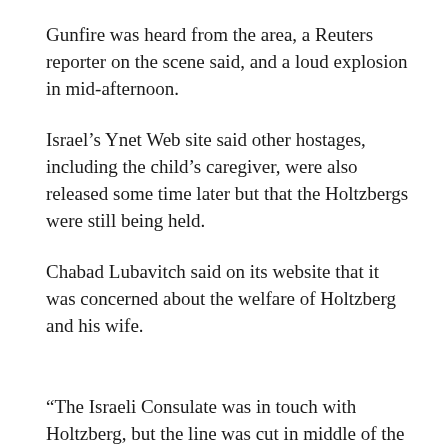Gunfire was heard from the area, a Reuters reporter on the scene said, and a loud explosion in mid-afternoon.
Israel’s Ynet Web site said other hostages, including the child’s caregiver, were also released some time later but that the Holtzbergs were still being held.
Chabad Lubavitch said on its website that it was concerned about the welfare of Holtzberg and his wife.
“The Israeli Consulate was in touch with Holtzberg, but the line was cut in middle of the conversation,” a report on the Chabad website said. “No further contact has since been established.”